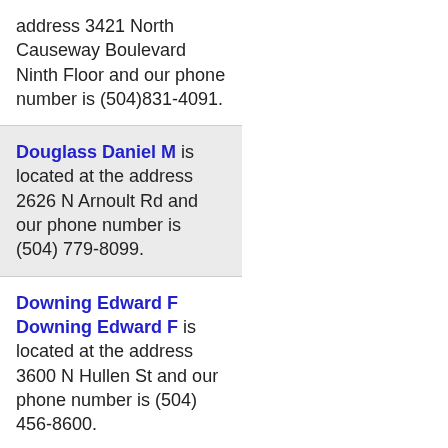address 3421 North Causeway Boulevard Ninth Floor and our phone number is (504)831-4091.
Douglass Daniel M is located at the address 2626 N Arnoult Rd and our phone number is (504) 779-8099.
Downing Edward F Downing Edward F is located at the address 3600 N Hullen St and our phone number is (504) 456-8600.
Doyle William Murphy Attorney is located at the address 3501 North Causeway Boulevard and our phone number is (504)833-3309.
Drake Beckler is located at the address 112 N Woodlawn